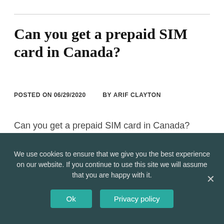Can you get a prepaid SIM card in Canada?
POSTED ON 06/29/2020   BY ARIF CLAYTON
Can you get a prepaid SIM card in Canada? Where Can You Buy a SIM Card in Canada? You can purchase a Canadian in the
We use cookies to ensure that we give you the best experience on our website. If you continue to use this site we will assume that you are happy with it.